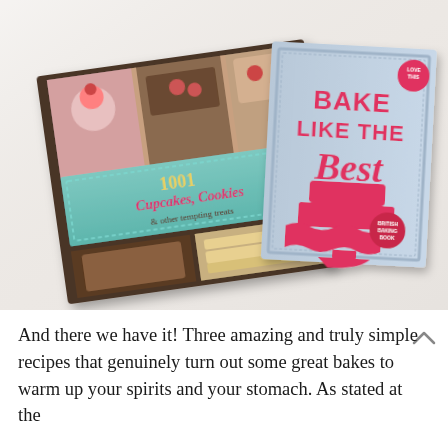[Figure (photo): Two baking/cookery books photographed on a white fabric surface. On the left is '1001 Cupcakes, Cookies & other tempting treats' with a teal/mint cover showing photos of cupcakes, cookies and baked goods. On the right is 'Bake Like the Best' with a light blue cover featuring a bold pink/red silhouette of a tiered cake on a cake stand.]
And there we have it! Three amazing and truly simple recipes that genuinely turn out some great bakes to warm up your spirits and your stomach. As stated at the